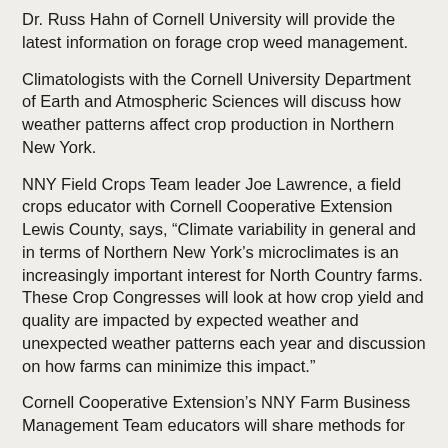Dr. Russ Hahn of Cornell University will provide the latest information on forage crop weed management.
Climatologists with the Cornell University Department of Earth and Atmospheric Sciences will discuss how weather patterns affect crop production in Northern New York.
NNY Field Crops Team leader Joe Lawrence, a field crops educator with Cornell Cooperative Extension Lewis County, says, “Climate variability in general and in terms of Northern New York’s microclimates is an increasingly important interest for North Country farms. These Crop Congresses will look at how crop yield and quality are impacted by expected weather and unexpected weather patterns each year and discussion on how farms can minimize this impact.”
Cornell Cooperative Extension’s NNY Farm Business Management Team educators will share methods for